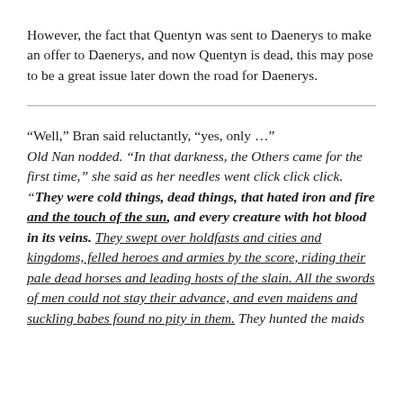However, the fact that Quentyn was sent to Daenerys to make an offer to Daenerys, and now Quentyn is dead, this may pose to be a great issue later down the road for Daenerys.
“Well,” Bran said reluctantly, “yes, only …” Old Nan nodded. “In that darkness, the Others came for the first time,” she said as her needles went click click click. “They were cold things, dead things, that hated iron and fire and the touch of the sun, and every creature with hot blood in its veins. They swept over holdfasts and cities and kingdoms, felled heroes and armies by the score, riding their pale dead horses and leading hosts of the slain. All the swords of men could not stay their advance, and even maidens and suckling babes found no pity in them. They hunted the maids